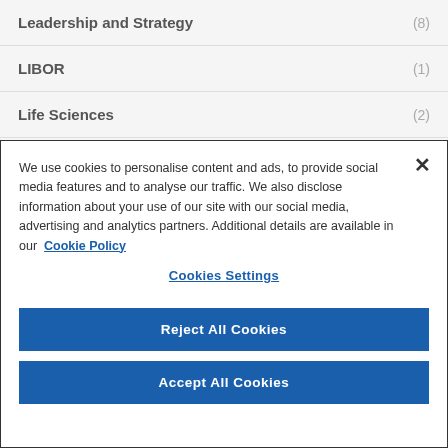Leadership and Strategy (8)
LIBOR (1)
Life Sciences (2)
Logistics (2)
We use cookies to personalise content and ads, to provide social media features and to analyse our traffic. We also disclose information about your use of our site with our social media, advertising and analytics partners. Additional details are available in our  Cookie Policy
Cookies Settings
Reject All Cookies
Accept All Cookies